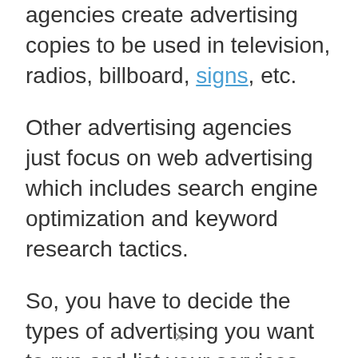agencies create advertising copies to be used in television, radios, billboard, signs, etc.
Other advertising agencies just focus on web advertising which includes search engine optimization and keyword research tactics.
So, you have to decide the types of advertising you want to run and list your services. Most big advertising agencies offer a wide range of services while others